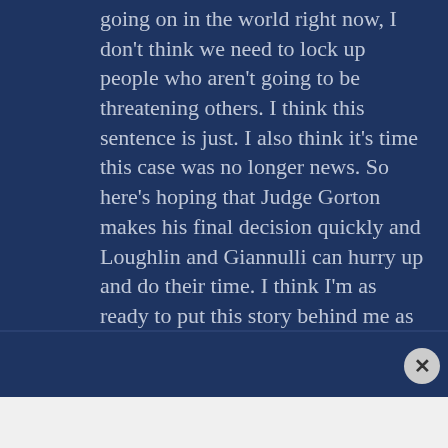going on in the world right now, I don't think we need to lock up people who aren't going to be threatening others. I think this sentence is just. I also think it's time this case was no longer news. So here's hoping that Judge Gorton makes his final decision quickly and Loughlin and Giannulli can hurry up and do their time. I think I'm as ready to put this story behind me as Loughlin and Giannulli are.
[Figure (other): Victoria's Secret advertisement banner with model, logo, 'SHOP THE COLLECTION' text and 'SHOP NOW' button]